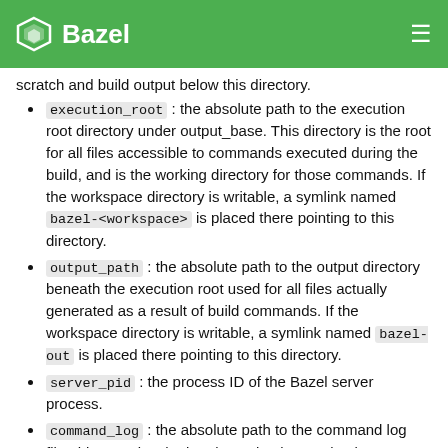Bazel
execution_root : the absolute path to the execution root directory under output_base. This directory is the root for all files accessible to commands executed during the build, and is the working directory for those commands. If the workspace directory is writable, a symlink named bazel-<workspace> is placed there pointing to this directory.
output_path : the absolute path to the output directory beneath the execution root used for all files actually generated as a result of build commands. If the workspace directory is writable, a symlink named bazel-out is placed there pointing to this directory.
server_pid : the process ID of the Bazel server process.
command_log : the absolute path to the command log file; this contains the interleaved stdout and stderr streams of the most recent Bazel command. Note that running bazel info will overwrite the contents